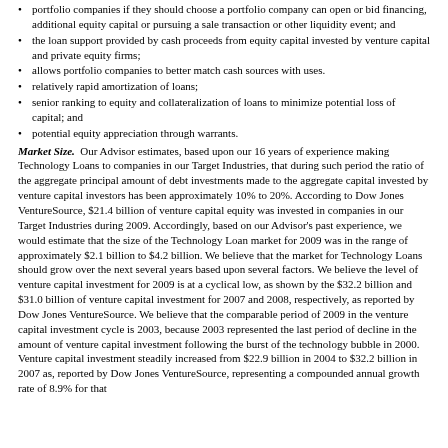portfolio companies if they should choose a portfolio company can open or bid financing, additional equity capital or pursuing a sale transaction or other liquidity event; and
the loan support provided by cash proceeds from equity capital invested by venture capital and private equity firms;
allows portfolio companies to better match cash sources with uses.
relatively rapid amortization of loans;
senior ranking to equity and collateralization of loans to minimize potential loss of capital; and
potential equity appreciation through warrants.
Market Size.  Our Advisor estimates, based upon our 16 years of experience making Technology Loans to companies in our Target Industries, that during such period the ratio of the aggregate principal amount of debt investments made to the aggregate capital invested by venture capital investors has been approximately 10% to 20%. According to Dow Jones VentureSource, $21.4 billion of venture capital equity was invested in companies in our Target Industries during 2009. Accordingly, based on our Advisor's past experience, we would estimate that the size of the Technology Loan market for 2009 was in the range of approximately $2.1 billion to $4.2 billion. We believe that the market for Technology Loans should grow over the next several years based upon several factors. We believe the level of venture capital investment for 2009 is at a cyclical low, as shown by the $32.2 billion and $31.0 billion of venture capital investment for 2007 and 2008, respectively, as reported by Dow Jones VentureSource. We believe that the comparable period of 2009 in the venture capital investment cycle is 2003, because 2003 represented the last period of decline in the amount of venture capital investment following the burst of the technology bubble in 2000. Venture capital investment steadily increased from $22.9 billion in 2004 to $32.2 billion in 2007 as, reported by Dow Jones VentureSource, representing a compounded annual growth rate of 8.9% for that